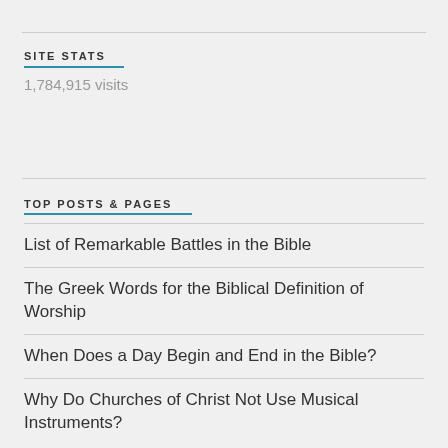SITE STATS
1,784,915 visits
TOP POSTS & PAGES
List of Remarkable Battles in the Bible
The Greek Words for the Biblical Definition of Worship
When Does a Day Begin and End in the Bible?
Why Do Churches of Christ Not Use Musical Instruments?